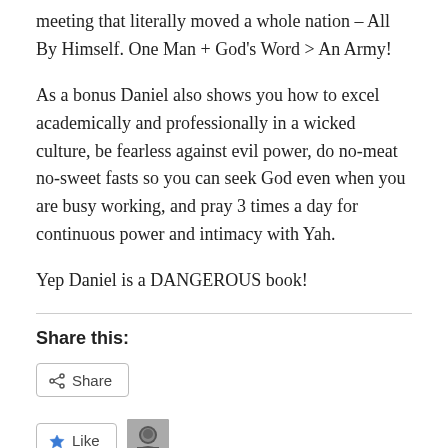meeting that literally moved a whole nation – All By Himself. One Man + God's Word > An Army!
As a bonus Daniel also shows you how to excel academically and professionally in a wicked culture, be fearless against evil power, do no-meat no-sweet fasts so you can seek God even when you are busy working, and pray 3 times a day for continuous power and intimacy with Yah.
Yep Daniel is a DANGEROUS book!
Share this:
[Figure (other): Share button with share icon]
[Figure (other): Like button with star icon and user avatar thumbnail]